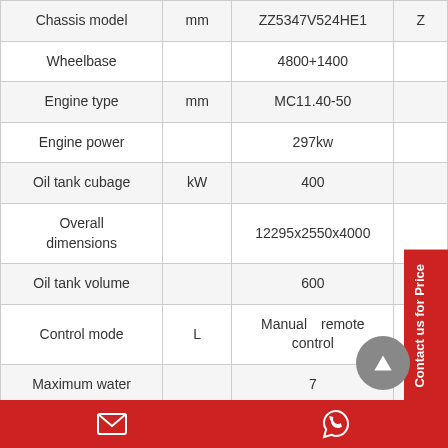| Parameter | Unit | ZZ5347V524HE1 | Z |
| --- | --- | --- | --- |
| Chassis model | mm | ZZ5347V524HE1 | Z |
| Wheelbase |  | 4800+1400 |  |
| Engine type | mm | MC11.40-50 |  |
| Engine power |  | 297kw |  |
| Oil tank cubage | kW | 400 |  |
| Overall dimensions |  | 12295x2550x4000 |  |
| Oil tank volume |  | 600 |  |
| Control mode | L | Manual　remote control |  |
| Maximum water |  | 7 |  |
Contact us for Price